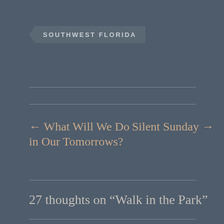SOUTHWEST FLORIDA
← What Will We Do in Our Tomorrows?
Silent Sunday →
27 thoughts on “Walk in the Park”